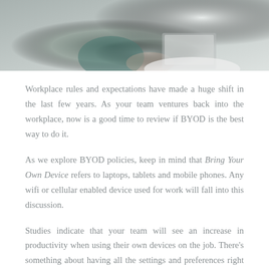[Figure (photo): Partial photo of a person at a desk with a laptop, cropped at the top of the page]
Workplace rules and expectations have made a huge shift in the last few years. As your team ventures back into the workplace, now is a good time to review if BYOD is the best way to do it.
As we explore BYOD policies, keep in mind that Bring Your Own Device refers to laptops, tablets and mobile phones. Any wifi or cellular enabled device used for work will fall into this discussion.
Studies indicate that your team will see an increase in productivity when using their own devices on the job. There's something about having all the settings and preferences right at